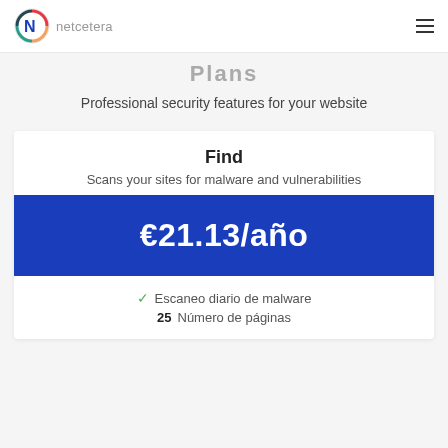netcetera
Plans
Professional security features for your website
Find
Scans your sites for malware and vulnerabilities
€21.13/año
Escaneo diario de malware
25 Número de páginas